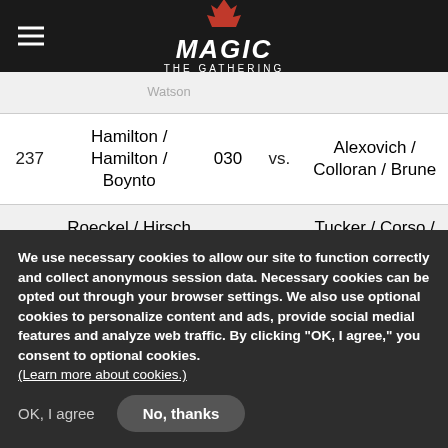Magic: The Gathering navigation header
| # | Team | Score |  | Opponent |
| --- | --- | --- | --- | --- |
| 237 | Hamilton / Hamilton / Boynto | 030 | vs. | Alexovich / Colloran / Brune |
| 238 | Roeckel / Hirsch / Najarro | 030 | vs. | Tucker / Corso / Edwards |
|  | Soileau / ... |  |  | Reinhardt / ... |
We use necessary cookies to allow our site to function correctly and collect anonymous session data. Necessary cookies can be opted out through your browser settings. We also use optional cookies to personalize content and ads, provide social medial features and analyze web traffic. By clicking “OK, I agree,” you consent to optional cookies. (Learn more about cookies.)